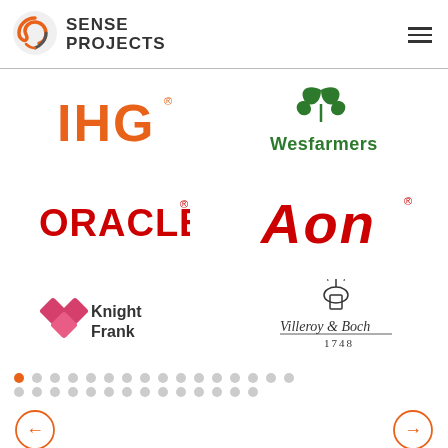[Figure (logo): Sense Projects logo with swirl icon and text SENSE PROJECTS]
[Figure (logo): IHG logo in orange bold letters with registered trademark]
[Figure (logo): Wesfarmers logo with green wheat/leaf icon and green bold text]
[Figure (logo): ORACLE logo in red bold letters with registered trademark]
[Figure (logo): AON logo in red bold italic letters with registered trademark]
[Figure (logo): Knight Frank logo with pink/red diamond pattern icon and bold text]
[Figure (logo): Villeroy & Boch logo with fountain icon, italic text and 1748 date]
[Figure (infographic): Pagination dots - first dot orange/active, rest gray, two rows]
[Figure (infographic): Left arrow navigation circle button in orange outline]
[Figure (infographic): Right arrow navigation circle button in orange outline]